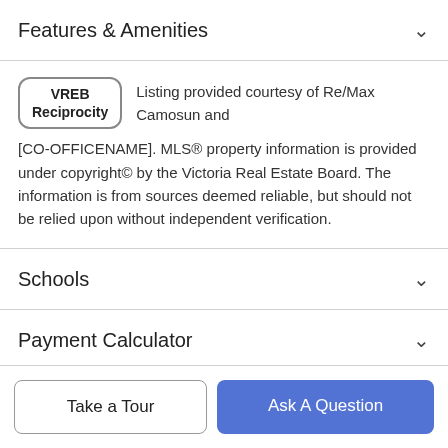Features & Amenities
Listing provided courtesy of Re/Max Camosun and [CO-OFFICENAME]. MLS® property information is provided under copyright© by the Victoria Real Estate Board. The information is from sources deemed reliable, but should not be relied upon without independent verification.
Schools
Payment Calculator
Contact Agent
Take a Tour
Ask A Question